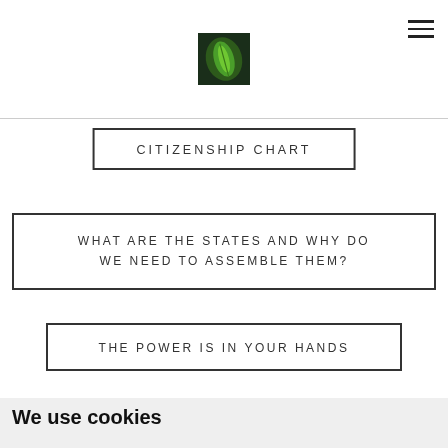CITIZENSHIP CHART
WHAT ARE THE STATES AND WHY DO WE NEED TO ASSEMBLE THEM?
THE POWER IS IN YOUR HANDS
We use cookies
We use cookies and other tracking technologies to improve your browsing experience on our website, to show you personalized content and targeted ads, to analyze our website traffic, and to